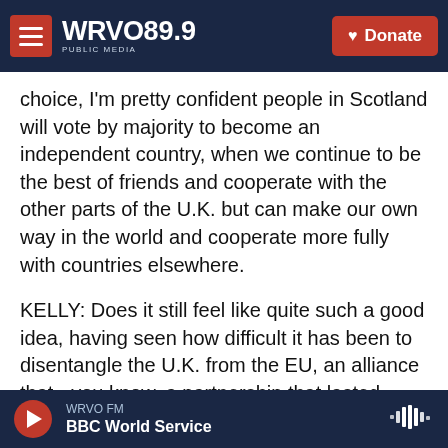WRVO PUBLIC MEDIA 89.9 | Donate
choice, I'm pretty confident people in Scotland will vote by majority to become an independent country, when we continue to be the best of friends and cooperate with the other parts of the U.K. but can make our own way in the world and cooperate more fully with countries elsewhere.
KELLY: Does it still feel like quite such a good idea, having seen how difficult it has been to disentangle the U.K. from the EU, an alliance that - you know, a partnership that lasted mere decades? Untangling Scotland from the U.K. is decoupling an alliance that has endured and prospered for 300 years.
WRVO FM | BBC World Service